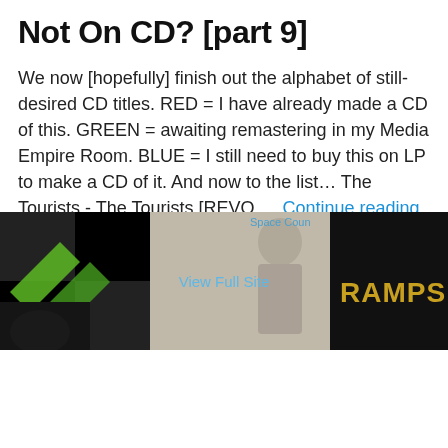Not On CD? [part 9]
We now [hopefully] finish out the alphabet of still-desired CD titles. RED = I have already made a CD of this. GREEN = awaiting remastering in my Media Empire Room. BLUE = I still need to buy this on LP to make a CD of it. And now to the list… The Tourists - The Tourists [REVO … Continue reading →
January 5, 2017
12 Replies
Older posts
[Figure (photo): Background photo strip showing album covers and a person, partially visible at bottom of page. Text 'View Full Site' overlaid in blue.]